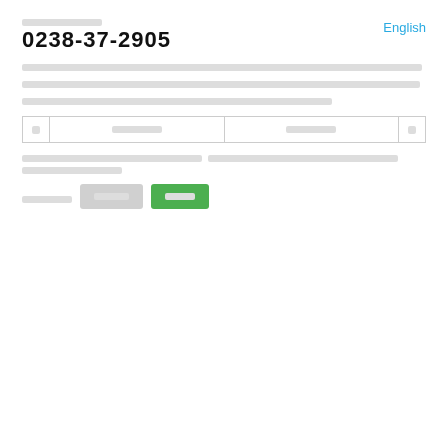■■■■■■■■■■■■■
0238-37-2905
English
■■■■■■■■■■■■■■■■■■■■■■■■■■■■■■■■■■■■■■■■■■■■■■■■■■■■■■■■■■■■■■■■■■■■
■■■■■■■■■■■■■■■■■■■■■■■■■■■■■■■■■■■■■■■■■■■■■■■■■■■■■■■■■■■■■■■■■■■■
■■■■■■■■■■■■■■■■■■■■■■■■■■■■■■■■■■■■■■■■■■■■■■■■
| ■ | ■■■■ | ■■■■ | ■ |
| --- | --- | --- | --- |
■■■■■■■■■■■■■■■■■ ■■■■■■■■■■■■■■■■■■■■■■■■■■■■■■■■■■ ■■■■■■■■■■
■■■■■■■
■■■■■
■■■■